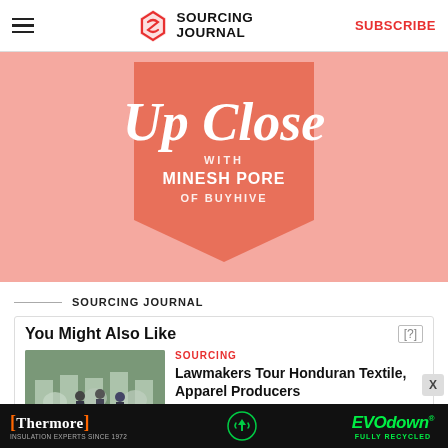SOURCING JOURNAL | SUBSCRIBE
[Figure (illustration): Up Close with Minesh Pore of Buyhive promotional banner on salmon/coral background with a coral pentagon badge shape]
SOURCING JOURNAL
You Might Also Like
[Figure (photo): People in a factory/warehouse setting, with garments and equipment visible, some wearing masks]
SOURCING
Lawmakers Tour Honduran Textile, Apparel Producers
[Figure (other): Thermore and EVO down advertisement banner: Thermore Insulation Experts Since 1972 | EVO down Fully Recycled]